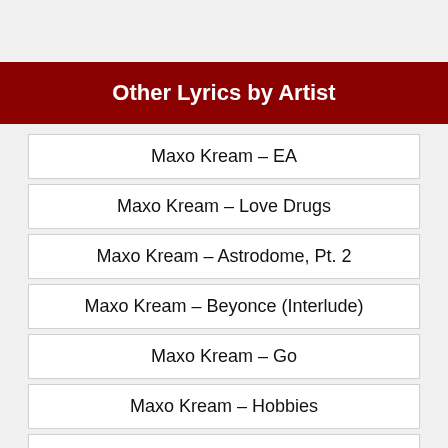Other Lyrics by Artist
Maxo Kream – EA
Maxo Kream – Love Drugs
Maxo Kream – Astrodome, Pt. 2
Maxo Kream – Beyonce (Interlude)
Maxo Kream – Go
Maxo Kream – Hobbies
Maxo Kream – Bussdown
Maxo Kream – Capeesh
Maxo Kream – Grannies